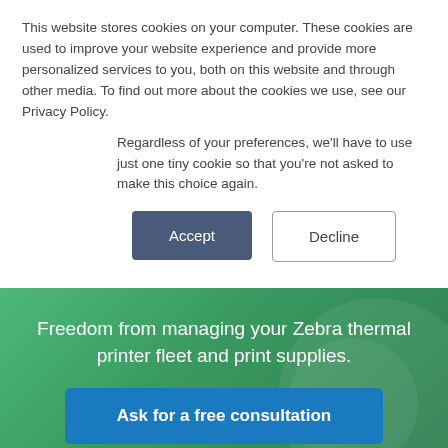This website stores cookies on your computer. These cookies are used to improve your website experience and provide more personalized services to you, both on this website and through other media. To find out more about the cookies we use, see our Privacy Policy.
Regardless of your preferences, we'll have to use just one tiny cookie so that you're not asked to make this choice again.
Accept
Decline
Freedom from managing your Zebra thermal printer fleet and print supplies.
Ask for a free consultation
Optimize Your Zebra